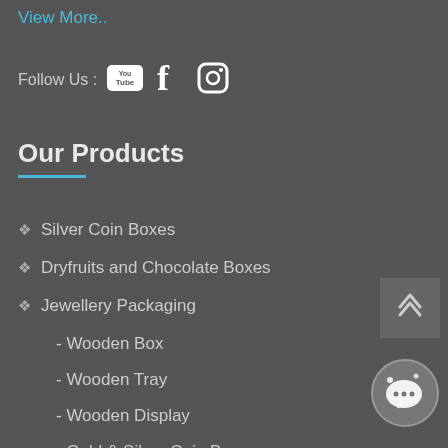View More..
Follow Us :
[Figure (logo): YouTube, Facebook, and Instagram social media icons]
Our Products
Silver Coin Boxes
Dryfruits and Chocolate Boxes
Jewellery Packaging
- Wooden Box
- Wooden Tray
- Wooden Display
- Gold & Silver Coin Box
- Customized Box
Display